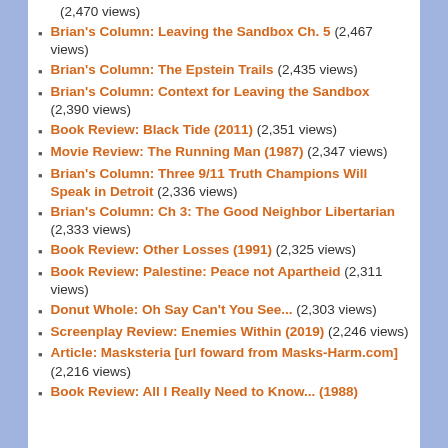(2,470 views)
Brian's Column: Leaving the Sandbox Ch. 5 (2,467 views)
Brian's Column: The Epstein Trails (2,435 views)
Brian's Column: Context for Leaving the Sandbox (2,390 views)
Book Review: Black Tide (2011) (2,351 views)
Movie Review: The Running Man (1987) (2,347 views)
Brian's Column: Three 9/11 Truth Champions Will Speak in Detroit (2,336 views)
Brian's Column: Ch 3: The Good Neighbor Libertarian (2,333 views)
Book Review: Other Losses (1991) (2,325 views)
Book Review: Palestine: Peace not Apartheid (2,311 views)
Donut Whole: Oh Say Can't You See... (2,303 views)
Screenplay Review: Enemies Within (2019) (2,246 views)
Article: Masksteria [url foward from Masks-Harm.com] (2,216 views)
Book Review: All I Really Need to Know... (1988)